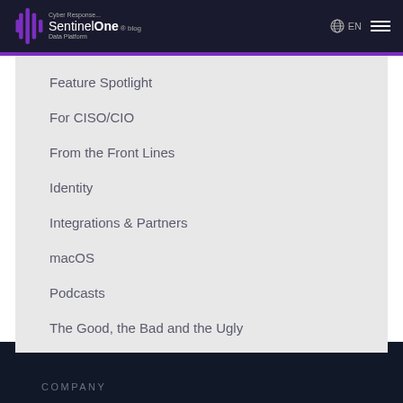Cyber Response... SentinelOne blog Data Platform EN
Feature Spotlight
For CISO/CIO
From the Front Lines
Identity
Integrations & Partners
macOS
Podcasts
The Good, the Bad and the Ugly
COMPANY